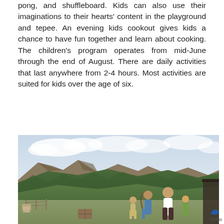pong, and shuffleboard. Kids can also use their imaginations to their hearts' content in the playground and tepee. An evening kids cookout gives kids a chance to have fun together and learn about cooking. The children's program operates from mid-June through the end of August. There are daily activities that last anywhere from 2-4 hours. Most activities are suited for kids over the age of six.
[Figure (photo): Outdoor photo showing people engaged in archery or outdoor activities against a mountain landscape backdrop with green forested hills and cloudy sky.]